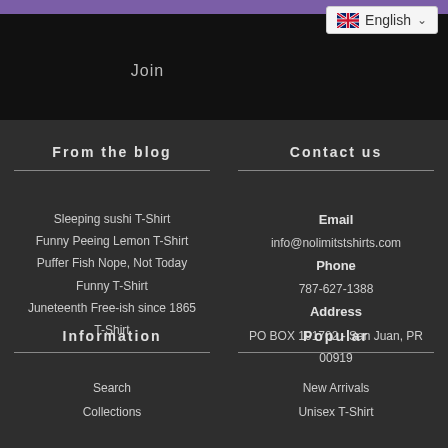[Figure (screenshot): Top navigation bar area with black background, purple strip, Join text, and English language selector]
From the blog
Sleeping sushi T-Shirt
Funny Peeing Lemon T-Shirt
Puffer Fish Nope, Not Today Funny T-Shirt
Juneteenth Free-ish since 1865 T-Shirt
Contact us
Email
info@nolimitstshirts.com
Phone
787-627-1388
Address
PO BOX 191702 - San Juan, PR 00919
Information
Search
Collections
Popular
New Arrivals
Unisex T-Shirt